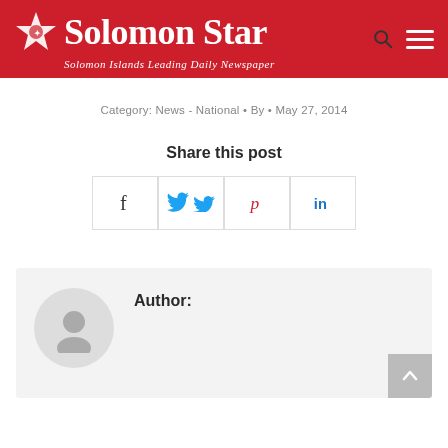[Figure (logo): Solomon Star newspaper logo with red background, white star icon, bold white 'Solomon Star' text, and italic tagline 'Solomon Islands Leading Daily Newspaper']
Category: News - National • By • May 27, 2014
Share this post
[Figure (other): Four social share buttons: Facebook (f), Twitter (bird), Pinterest (p), LinkedIn (in)]
Author:
[Figure (other): Generic author avatar placeholder circle with person silhouette icon]